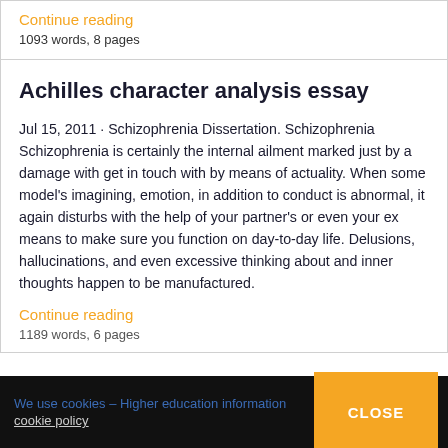Continue reading
1093 words, 8 pages
Achilles character analysis essay
Jul 15, 2011 · Schizophrenia Dissertation. Schizophrenia Schizophrenia is certainly the internal ailment marked just by a damage with get in touch with by means of actuality. When some model's imagining, emotion, in addition to conduct is abnormal, it again disturbs with the help of your partner's or even your ex means to make sure you function on day-to-day life. Delusions, hallucinations, and even excessive thinking about and inner thoughts happen to be manufactured.
Continue reading
1189 words, 6 pages
We use cookies – Higher education information
cookie policy
CLOSE